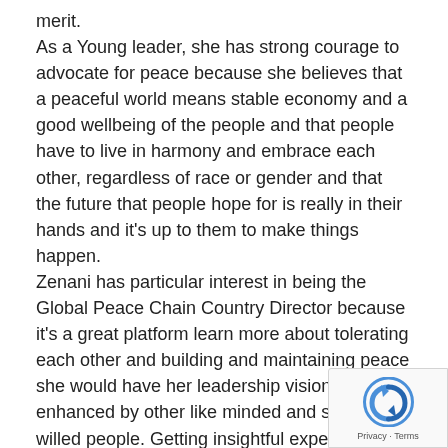merit.
As a Young leader, she has strong courage to advocate for peace because she believes that a peaceful world means stable economy and a good wellbeing of the people and that people have to live in harmony and embrace each other, regardless of race or gender and that the future that people hope for is really in their hands and it's up to them to make things happen.
Zenani has particular interest in being the Global Peace Chain Country Director because it's a great platform learn more about tolerating each other and building and maintaining peace she would have her leadership vision enhanced by other like minded and strong willed people. Getting insightful experiences is her motivation.
She believes that the world can be a better place for generations to come.
"A great leader reaches for the hearts and souls of people in a way that nobody else can."
[Figure (logo): reCAPTCHA badge with Privacy and Terms links]